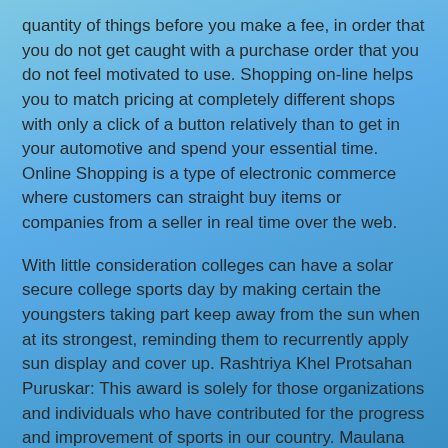quantity of things before you make a fee, in order that you do not get caught with a purchase order that you do not feel motivated to use. Shopping on-line helps you to match pricing at completely different shops with only a click of a button relatively than to get in your automotive and spend your essential time. Online Shopping is a type of electronic commerce where customers can straight buy items or companies from a seller in real time over the web.
With little consideration colleges can have a solar secure college sports day by making certain the youngsters taking part keep away from the sun when at its strongest, reminding them to recurrently apply sun display and cover up. Rashtriya Khel Protsahan Puruskar: This award is solely for those organizations and individuals who have contributed for the progress and improvement of sports in our country. Maulana Abul Kalam Azad Award: In the list of sports awards it’s for the colleges who’ve contributed in the sector of sports and supported the most effective performance in sports. IPL 2012 schedule mainly means the information about varied sports and developments in the sector. Sports news has bragged of such sagas when a player from modest background becomes all glitters. Sports like cricket and soccer that have an enormous fan following have web sites specifically dedicated to the sport, team or a selected participant. “The fantasy soccer players I’ve met are a few of essentially the most passionate